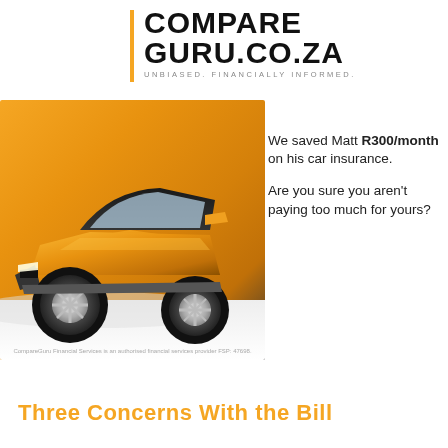COMPARE GURU.CO.ZA — UNBIASED. FINANCIALLY INFORMED.
[Figure (photo): Orange/yellow SUV car shown from the front-right angle on a white background, used in an insurance comparison advertisement.]
We saved Matt R300/month on his car insurance.

Are you sure you aren't paying too much for yours?
CompareGuru Financial Services is an authorised financial services provider FSP: 47698.
Three Concerns With the Bill